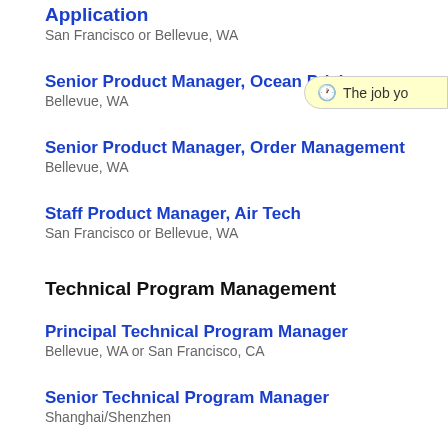Application
San Francisco or Bellevue, WA
Senior Product Manager, Ocean Pricing
Bellevue, WA
Senior Product Manager, Order Management
Bellevue, WA
Staff Product Manager, Air Tech
San Francisco or Bellevue, WA
Technical Program Management
Principal Technical Program Manager
Bellevue, WA or San Francisco, CA
Senior Technical Program Manager
Shanghai/Shenzhen
Senior Technical Program Manager, Data Analytics